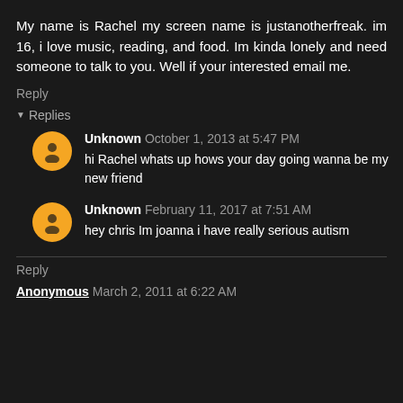My name is Rachel my screen name is justanotherfreak. im 16, i love music, reading, and food. Im kinda lonely and need someone to talk to you. Well if your interested email me.
Reply
▾ Replies
Unknown  October 1, 2013 at 5:47 PM
hi Rachel whats up hows your day going wanna be my new friend
Unknown  February 11, 2017 at 7:51 AM
hey chris Im joanna i have really serious autism
Reply
Anonymous  March 2, 2011 at 6:22 AM